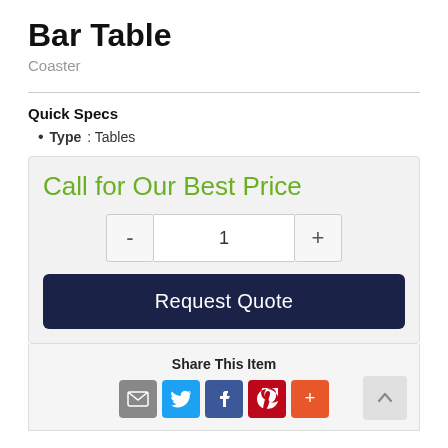Bar Table
Coaster
Quick Specs
Type: Tables
Call for Our Best Price
- 1 +
Request Quote
Share This Item